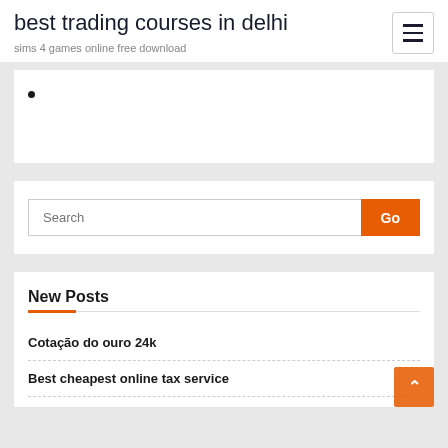best trading courses in delhi
sims 4 games online free download
•
Search
New Posts
Cotação do ouro 24k
Best cheapest online tax service